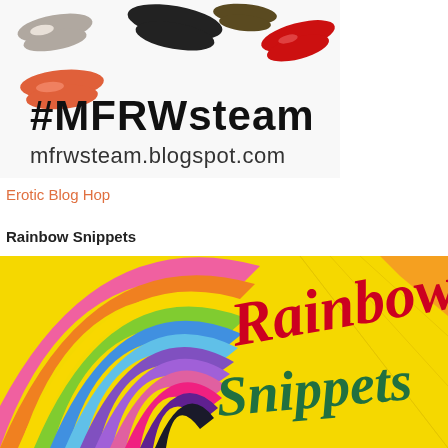[Figure (illustration): MFRW Steam blog hop logo with colorful lip prints and text '#MFRWsteam mfrwsteam.blogspot.com' on white background]
Erotic Blog Hop
Rainbow Snippets
[Figure (photo): Rainbow Snippets logo showing a colorful rainbow hot air balloon with red and green serif text reading 'Rainbow Snippets' on a yellow background]